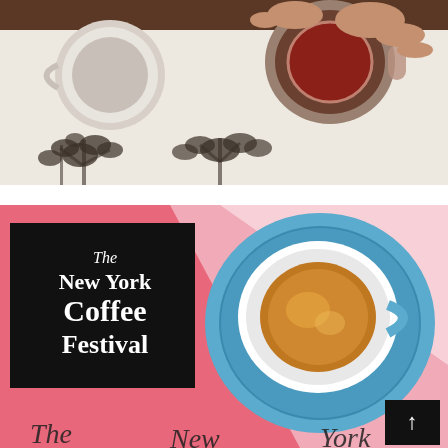[Figure (photo): Top-down view of hands holding coffee mugs over a white table with dark botanical floral shadow patterns. A dark red/maroon coffee is visible in one mug being lifted.]
[Figure (photo): New York Coffee Festival promotional image. Pink and white diagonal background with a blue espresso cup and saucer from overhead view on the right. Black square logo on the left reads 'The New York Coffee Festival' in white serif text. Small black square with white upward arrow in bottom right corner. Cursive script text partially visible along the bottom edge.]